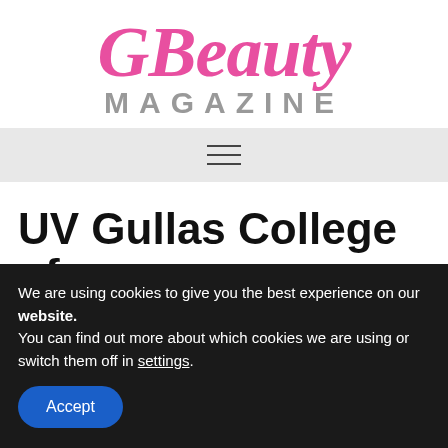GBeauty MAGAZINE
[Figure (other): Hamburger menu icon with three horizontal lines]
UV Gullas College of
We are using cookies to give you the best experience on our website.
You can find out more about which cookies we are using or switch them off in settings.
Accept